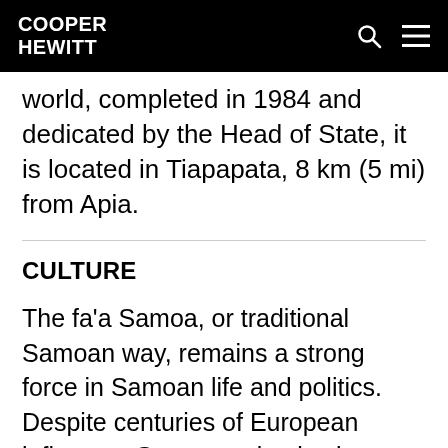COOPER HEWITT
world, completed in 1984 and dedicated by the Head of State, it is located in Tiapapata, 8 km (5 mi) from Apia.
CULTURE
The fa'a Samoa, or traditional Samoan way, remains a strong force in Samoan life and politics. Despite centuries of European influence, Samoa maintains its historical customs, social and political systems, and language. Cultural customs such as the Samoa 'ava ceremony are